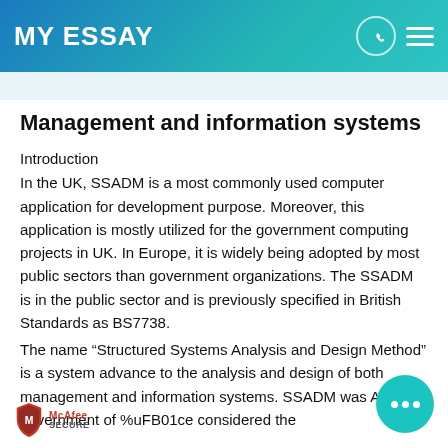MY ESSAY
Management and information systems
Introduction
In the UK, SSADM is a most commonly used computer application for development purpose. Moreover, this application is mostly utilized for the government computing projects in UK. In Europe, it is widely being adopted by most public sectors than government organizations. The SSADM is in the public sector and is previously specified in British Standards as BS7738.
The name “Structured Systems Analysis and Design Method” is a system advance to the analysis and design of both management and information systems. SSADM was A a UK government of %uFB01ce considered the